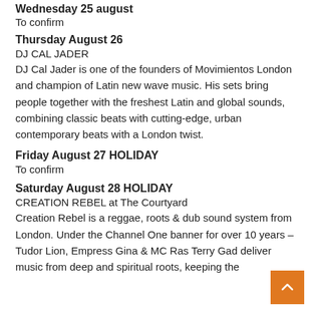Wednesday 25 august
To confirm
Thursday August 26
DJ CAL JADER
DJ Cal Jader is one of the founders of Movimientos London and champion of Latin new wave music. His sets bring people together with the freshest Latin and global sounds, combining classic beats with cutting-edge, urban contemporary beats with a London twist.
Friday August 27 HOLIDAY
To confirm
Saturday August 28 HOLIDAY
CREATION REBEL at The Courtyard
Creation Rebel is a reggae, roots & dub sound system from London. Under the Channel One banner for over 10 years – Tudor Lion, Empress Gina & MC Ras Terry Gad deliver music from deep and spiritual roots, keeping the